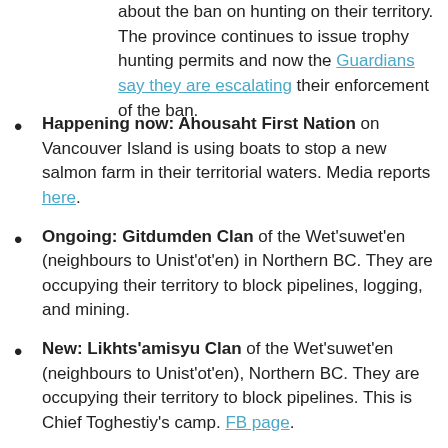about the ban on hunting on their territory. The province continues to issue trophy hunting permits and now the Guardians say they are escalating their enforcement of the ban.
Happening now: Ahousaht First Nation on Vancouver Island is using boats to stop a new salmon farm in their territorial waters. Media reports here.
Ongoing: Gitdumden Clan of the Wet'suwet'en (neighbours to Unist'ot'en) in Northern BC. They are occupying their territory to block pipelines, logging, and mining.
New: Likhts'amisyu Clan of the Wet'suwet'en (neighbours to Unist'ot'en), Northern BC. They are occupying their territory to block pipelines. This is Chief Toghestiy's camp. FB page.
Ongoing: Lax Kw'alaams First Nation vs. LNG pipeline terminal, near Prince Rupert BC. The drilling platform was barged into position near Lelu Island in a bay that holds millions of young